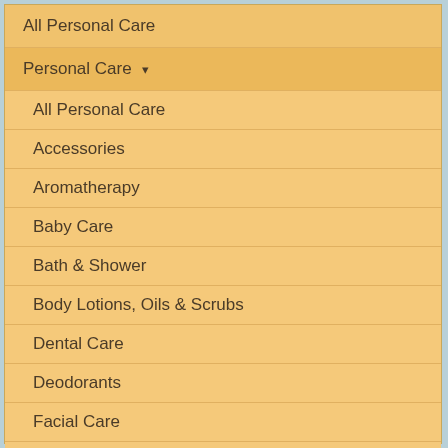All Personal Care
Personal Care ▾
All Personal Care
Accessories
Aromatherapy
Baby Care
Bath & Shower
Body Lotions, Oils & Scrubs
Dental Care
Deodorants
Facial Care
Female Hygiene
First Aid & Problem Skin